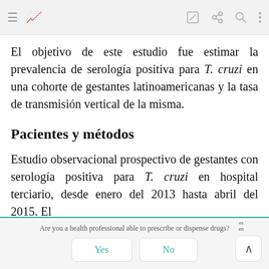Navigation bar with menu, logo, edit, share, search, and more icons
El objetivo de este estudio fue estimar la prevalencia de serología positiva para T. cruzi en una cohorte de gestantes latinoamericanas y la tasa de transmisión vertical de la misma.
Pacientes y métodos
Estudio observacional prospectivo de gestantes con serología positiva para T. cruzi en hospital terciario, desde enero del 2013 hasta abril del 2015. El
Are you a health professional able to prescribe or dispense drugs? Yes  No